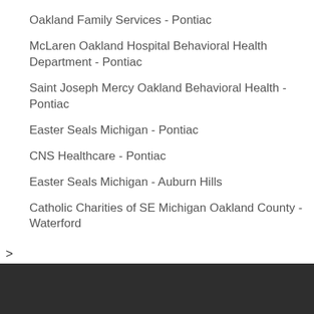Oakland Family Services - Pontiac
McLaren Oakland Hospital Behavioral Health Department - Pontiac
Saint Joseph Mercy Oakland Behavioral Health - Pontiac
Easter Seals Michigan - Pontiac
CNS Healthcare - Pontiac
Easter Seals Michigan - Auburn Hills
Catholic Charities of SE Michigan Oakland County - Waterford
>